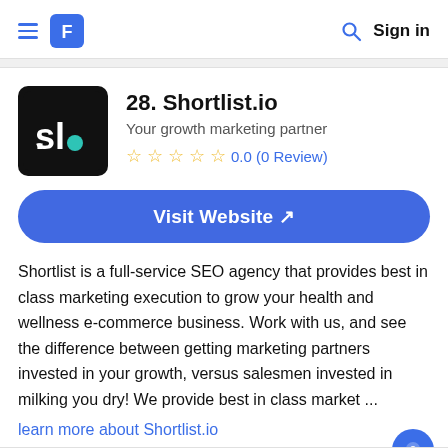≡ [logo] Search Sign in
28. Shortlist.io
Your growth marketing partner
0.0 (0 Review)
Visit Website ↗
Shortlist is a full-service SEO agency that provides best in class marketing execution to grow your health and wellness e-commerce business. Work with us, and see the difference between getting marketing partners invested in your growth, versus salesmen invested in milking you dry! We provide best in class market ...
learn more about Shortlist.io